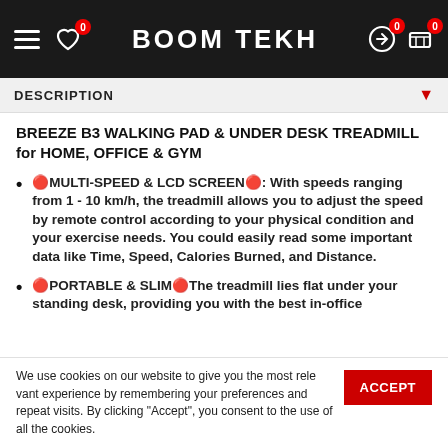BOOM TEKH — navigation header with hamburger menu, wishlist (0), logo, account (0), cart (0)
DESCRIPTION
BREEZE B3 WALKING PAD & UNDER DESK TREADMILL for HOME, OFFICE & GYM
🔴MULTI-SPEED & LCD SCREEN🔴: With speeds ranging from 1 - 10 km/h, the treadmill allows you to adjust the speed by remote control according to your physical condition and your exercise needs. You could easily read some important data like Time, Speed, Calories Burned, and Distance.
🔴PORTABLE & SLIM🔴The treadmill lies flat under your standing desk, providing you with the best in-office exercise while you work. Size: this treadmill also weighs 22.5 kg, it is essentially the same portable that fits easily under furniture while not in use.
We use cookies on our website to give you the most relevant experience by remembering your preferences and repeat visits. By clicking "Accept", you consent to the use of all the cookies.